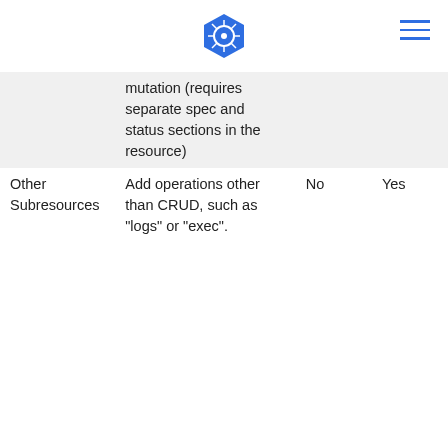[Kubernetes logo] [hamburger menu]
| Resource | Description | Namespaced | CRD |
| --- | --- | --- | --- |
|  | mutation (requires separate spec and status sections in the resource) |  |  |
| Other Subresources | Add operations other than CRUD, such as "logs" or "exec". | No | Yes |